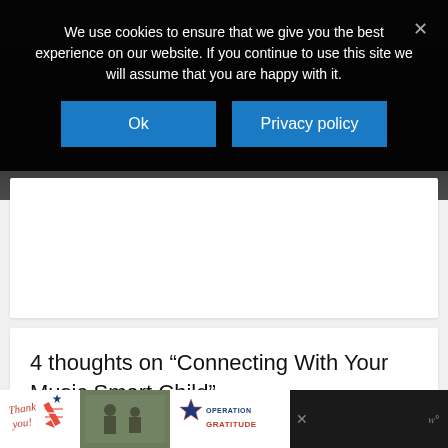We use cookies to ensure that we give you the best experience on our website. If you continue to use this site we will assume that you are happy with it.
[Figure (screenshot): Cookie consent overlay with Ok and Privacy policy buttons on dark background, over a webpage showing a partially visible image and article section]
4 thoughts on “Connecting With Your Music Smart Child”
[Figure (photo): Bottom advertisement banner for Operation Gratitude charity with thank you image and military personnel photo]